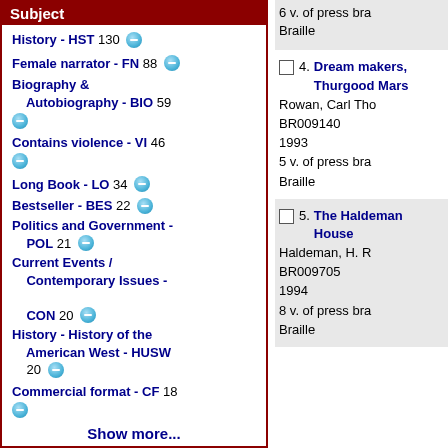Subject
History - HST 130
Female narrator - FN 88
Biography & Autobiography - BIO 59
Contains violence - VI 46
Long Book - LO 34
Bestseller - BES 22
Politics and Government - POL 21
Current Events / Contemporary Issues - CON 20
History - History of the American West - HUSW 20
Commercial format - CF 18
Show more...
6 v. of press bra
Braille
4. Dream makers, Thurgood Mars
Rowan, Carl Tho
BR009140
1993
5 v. of press bra
Braille
5. The Haldeman House
Haldeman, H. R
BR009705
1994
8 v. of press bra
Braille